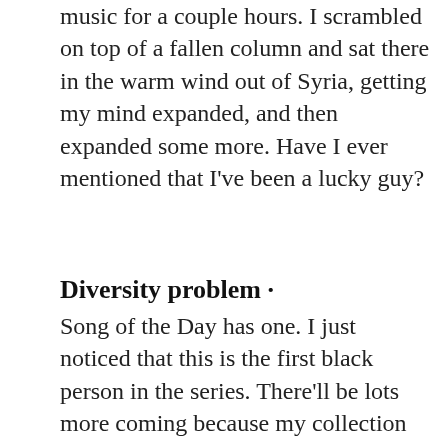music for a couple hours. I scrambled on top of a fallen column and sat there in the warm wind out of Syria, getting my mind expanded, and then expanded some more. Have I ever mentioned that I've been a lucky guy?
Diversity problem ·
Song of the Day has one. I just noticed that this is the first black person in the series. There'll be lots more coming because my collection